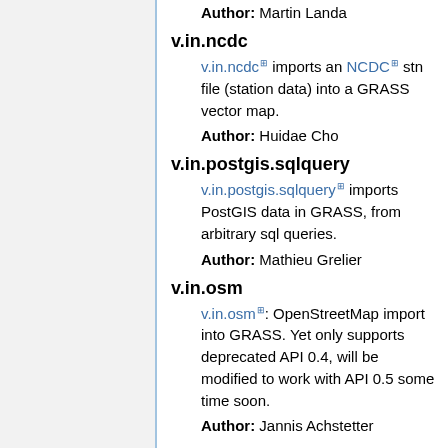Author: Martin Landa
v.in.ncdc
v.in.ncdc imports an NCDC stn file (station data) into a GRASS vector map.
Author: Huidae Cho
v.in.postgis.sqlquery
v.in.postgis.sqlquery imports PostGIS data in GRASS, from arbitrary sql queries.
Author: Mathieu Grelier
v.in.osm
v.in.osm: OpenStreetMap import into GRASS. Yet only supports deprecated API 0.4, will be modified to work with API 0.5 some time soon.
Author: Jannis Achstetter